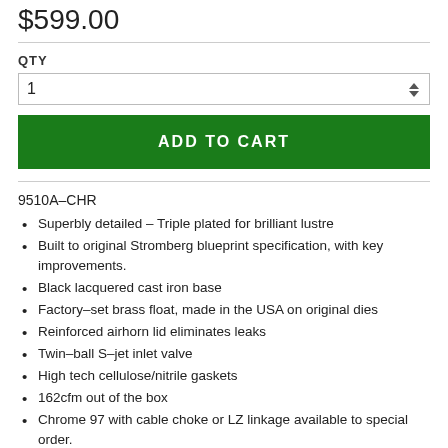$599.00
QTY
1
ADD TO CART
9510A-CHR
Superbly detailed – Triple plated for brilliant lustre
Built to original Stromberg blueprint specification, with key improvements.
Black lacquered cast iron base
Factory-set brass float, made in the USA on original dies
Reinforced airhorn lid eliminates leaks
Twin-ball S-jet inlet valve
High tech cellulose/nitrile gaskets
162cfm out of the box
Chrome 97 with cable choke or LZ linkage available to special order.